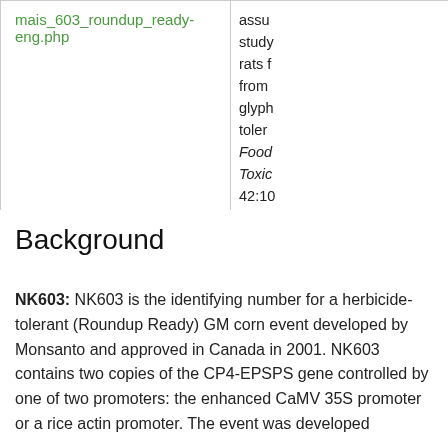| mais_603_roundup_ready-eng.php | assu
study
rats f
from
glyph
tolen
Food
Toxic
42:10 |
Background
NK603: NK603 is the identifying number for a herbicide-tolerant (Roundup Ready) GM corn event developed by Monsanto and approved in Canada in 2001. NK603 contains two copies of the CP4-EPSPS gene controlled by one of two promoters: the enhanced CaMV 35S promoter or a rice actin promoter. The event was developed